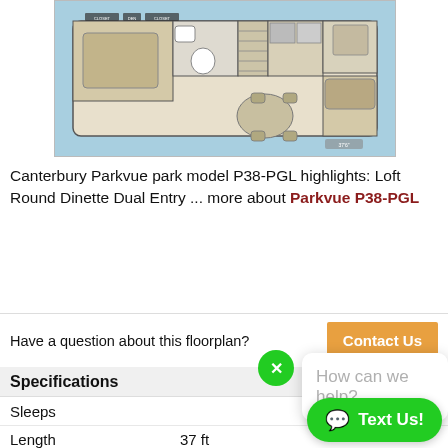[Figure (schematic): Canterbury Parkvue P38-PGL floor plan schematic showing room layout with bedroom, bathroom, kitchen, dinette and living area on a blue background]
Canterbury Parkvue park model P38-PGL highlights: Loft Round Dinette Dual Entry ... more about Parkvue P38-PGL
Have a question about this floorplan?
Specifications
|  |  |
| --- | --- |
| Sleeps |  |
| Length | 37 ft |
| Interior Color | Ba... Ca... Mystic Blue, |
How can we help?
Text Us!